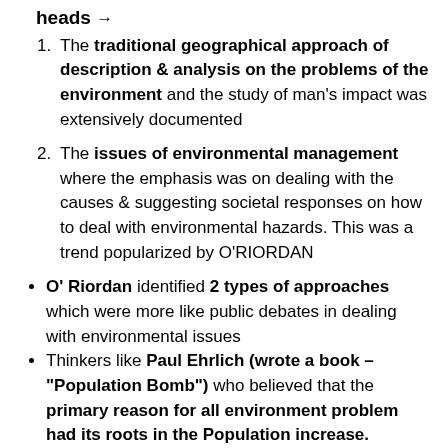heads
The traditional geographical approach of description & analysis on the problems of the environment and the study of man's impact was extensively documented
The issues of environmental management where the emphasis was on dealing with the causes & suggesting societal responses on how to deal with environmental hazards. This was a trend popularized by O'RIORDAN
O' Riordan identified 2 types of approaches which were more like public debates in dealing with environmental issues
Thinkers like Paul Ehrlich (wrote a book – "Population Bomb") who believed that the primary reason for all environment problem had its roots in the Population increase.
e.g. Pollution in Urban Areas is attributed to